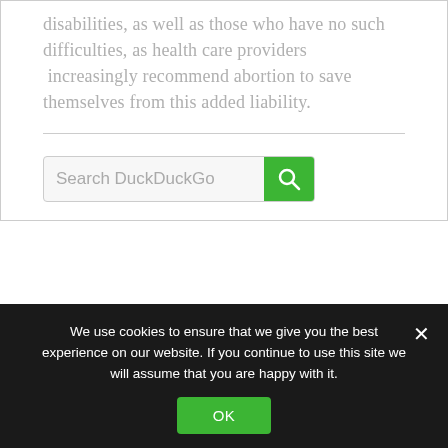disabilities, as well as those who have no such difficulties, as health care providers  increasingly recommend abortion to save themselves from this added liability.
[Figure (screenshot): DuckDuckGo search bar with green search button and magnifying glass icon]
We use cookies to ensure that we give you the best experience on our website. If you continue to use this site we will assume that you are happy with it.